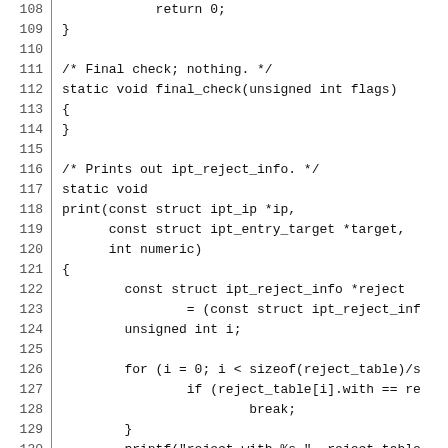Source code listing lines 108-137, C programming language, ipt_reject module functions including final_check, print, and save.